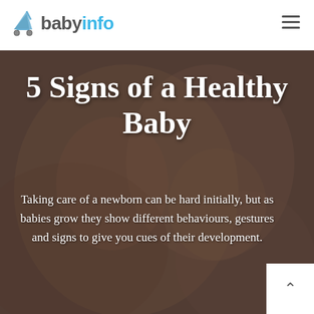babyinfo
[Figure (photo): Close-up photo of a smiling baby being held, soft warm tones, used as hero background image]
5 Signs of a Healthy Baby
Taking care of a newborn can be hard initially, but as babies grow they show different behaviours, gestures and signs to give you cues of their development.